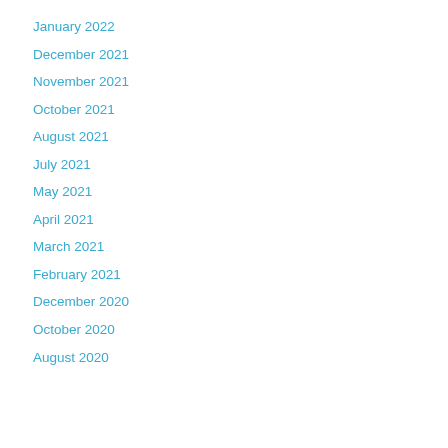January 2022
December 2021
November 2021
October 2021
August 2021
July 2021
May 2021
April 2021
March 2021
February 2021
December 2020
October 2020
August 2020